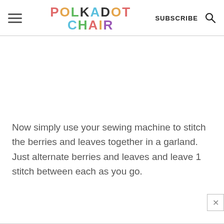POLKADOT CHAIR — SUBSCRIBE — [search icon]
Now simply use your sewing machine to stitch the berries and leaves together in a garland. Just alternate berries and leaves and leave 1 stitch between each as you go.